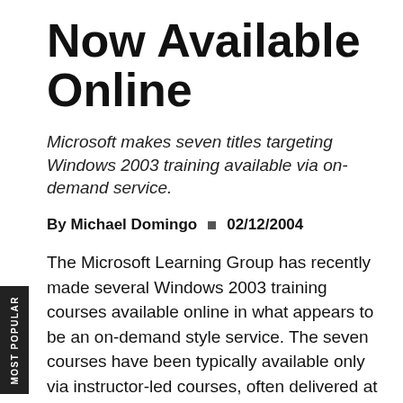Now Available Online
Microsoft makes seven titles targeting Windows 2003 training available via on-demand service.
By Michael Domingo  02/12/2004
The Microsoft Learning Group has recently made several Windows 2003 training courses available online in what appears to be an on-demand style service. The seven courses have been typically available only via instructor-led courses, often delivered at CTECs or IT Skills Academy partners. The courses target IT professionals who often find it difficult to attend training for long periods, which means long absences from